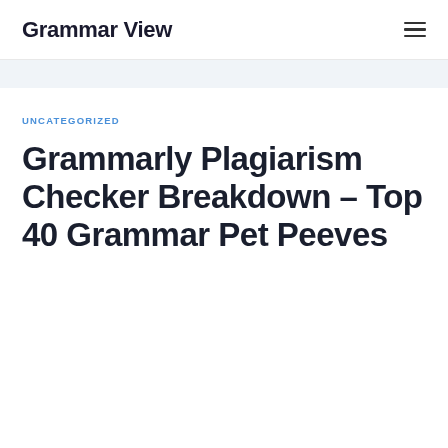Grammar View
UNCATEGORIZED
Grammarly Plagiarism Checker Breakdown – Top 40 Grammar Pet Peeves